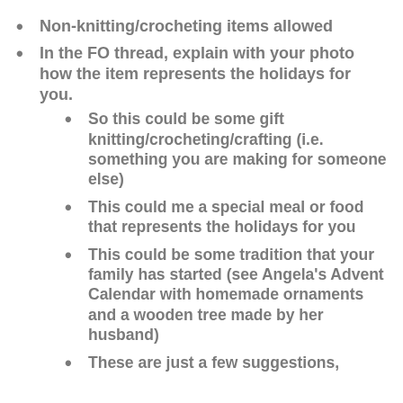Non-knitting/crocheting items allowed
In the FO thread, explain with your photo how the item represents the holidays for you.
So this could be some gift knitting/crocheting/crafting (i.e. something you are making for someone else)
This could me a special meal or food that represents the holidays for you
This could be some tradition that your family has started (see Angela’s Advent Calendar with homemade ornaments and a wooden tree made by her husband)
These are just a few suggestions,